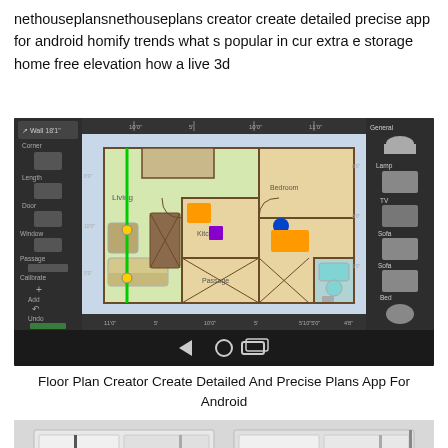nethouseplansnethouseplans creator create detailed precise app for android homify trends what s popular in cur extra e storage home free elevation how a live 3d
[Figure (screenshot): Screenshot of Floor Plan Creator app for Android showing a detailed apartment floor plan with rooms labeled Living, Kitchen, Bedroom, Bathroom, Passage. Left sidebar shows tools: Corner, Length, Door, Window, Passage, Calibrate, Add, Undo, Levels. Right sidebar shows furniture items: General, Lamp, TV, Sofa, Sofa, Bed. Bottom has Android navigation bar with back, home, and recent buttons.]
Floor Plan Creator Create Detailed And Precise Plans App For Android
[Figure (photo): 3D rendered top-down view of a white architectural floor plan model showing room partitions and walls.]